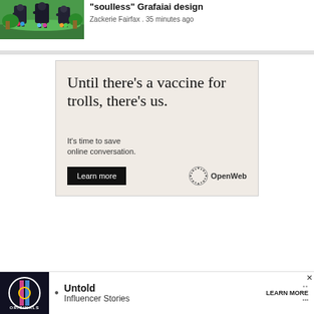[Figure (screenshot): Screenshot of a Pokemon game scene with dark bird-like characters (Grafaiai) on a colorful landscape background]
“soulless” Grafaiai design
Zackerie Fairfax . 35 minutes ago
[Figure (infographic): Advertisement box with light pink/beige background. Large serif text reads: Until there's a vaccine for trolls, there's us. Smaller text: It's time to save online conversation. A black 'Learn more' button and OpenWeb logo with sunburst icon appear at the bottom.]
[Figure (screenshot): Bottom advertisement banner showing 'Originals' logo on dark background, bullet point, 'Untold Influencer Stories' text, and 'LEARN MORE' button with close X button]